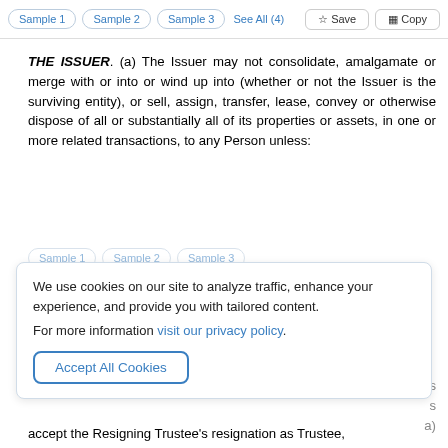Sample 1   Sample 2   Sample 3   See All (4)
☆ Save   Copy
THE ISSUER. (a) The Issuer may not consolidate, amalgamate or merge with or into or wind up into (whether or not the Issuer is the surviving entity), or sell, assign, transfer, lease, convey or otherwise dispose of all or substantially all of its properties or assets, in one or more related transactions, to any Person unless:
We use cookies on our site to analyze traffic, enhance your experience, and provide you with tailored content.
For more information visit our privacy policy.
Accept All Cookies
accept the Resigning Trustee's resignation as Trustee,